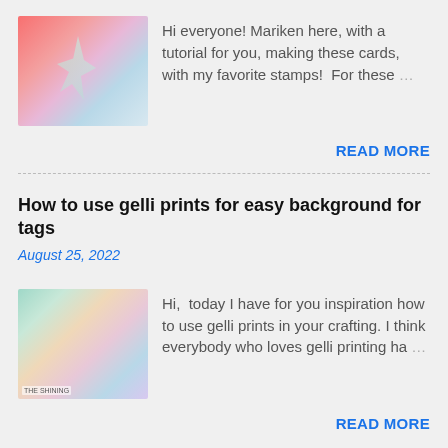[Figure (photo): Thumbnail image of colorful handmade cards with floral/butterfly stamp designs in red, pink, and blue hues]
Hi everyone! Mariken here, with a tutorial for you, making these cards, with my favorite stamps!  For these ...
READ MORE
How to use gelli prints for easy background for tags
August 25, 2022
[Figure (photo): Thumbnail image of colorful gelli print tags and papers in mixed craft colors with text 'THE SHINING' at bottom]
Hi,  today I have for you inspiration how to use gelli prints in your crafting. I think everybody who loves gelli printing ha ...
READ MORE